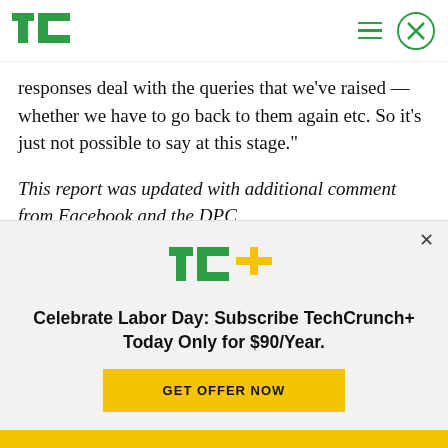TechCrunch
responses deal with the queries that we've raised — whether we have to go back to them again etc. So it's just not possible to say at this stage."
This report was updated with additional comment from Facebook and the DPC
[Figure (logo): TechCrunch+ logo with TC+ text in green and yellow]
Celebrate Labor Day: Subscribe TechCrunch+ Today Only for $90/Year.
GET OFFER NOW